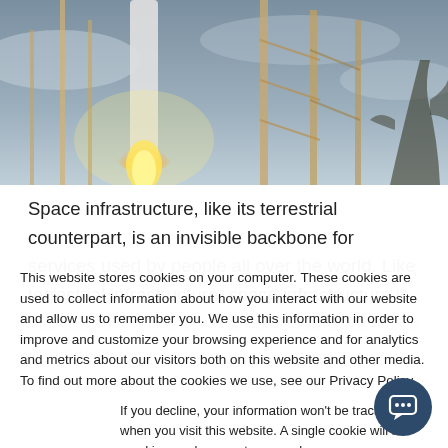[Figure (photo): Rocket launch with bright flame and exhaust, launch tower structure visible to the right, cloudy sky background]
Space infrastructure, like its terrestrial counterpart, is an invisible backbone for services used by people all over the world. Like terrestrial infrastructure, space infrastructure is increasingly relied upon for emergency services and national
This website stores cookies on your computer. These cookies are used to collect information about how you interact with our website and allow us to remember you. We use this information in order to improve and customize your browsing experience and for analytics and metrics about our visitors both on this website and other media. To find out more about the cookies we use, see our Privacy Policy.
If you decline, your information won't be tracked when you visit this website. A single cookie will be used in your browser to remember your preference not to be tracked.